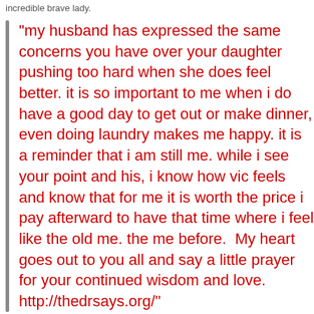incredible brave lady.
“my husband has expressed the same concerns you have over your daughter pushing too hard when she does feel better. it is so important to me when i do have a good day to get out or make dinner, even doing laundry makes me happy. it is a reminder that i am still me. while i see your point and his, i know how vic feels and know that for me it is worth the price i pay afterward to have that time where i feel like the old me. the me before.  My heart goes out to you all and say a little prayer for your continued wisdom and love. http://thedrsays.org/”